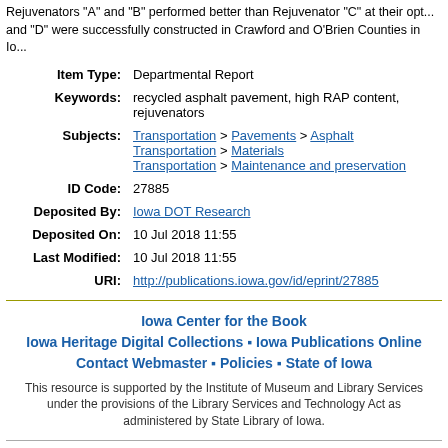Rejuvenators "A" and "B" performed better than Rejuvenator "C" at their opt... and "D" were successfully constructed in Crawford and O'Brien Counties in Io...
| Field | Value |
| --- | --- |
| Item Type: | Departmental Report |
| Keywords: | recycled asphalt pavement, high RAP content, rejuvenators |
| Subjects: | Transportation > Pavements > Asphalt
Transportation > Materials
Transportation > Maintenance and preservation |
| ID Code: | 27885 |
| Deposited By: | Iowa DOT Research |
| Deposited On: | 10 Jul 2018 11:55 |
| Last Modified: | 10 Jul 2018 11:55 |
| URI: | http://publications.iowa.gov/id/eprint/27885 |
Iowa Center for the Book
Iowa Heritage Digital Collections • Iowa Publications Online
Contact Webmaster • Policies • State of Iowa
This resource is supported by the Institute of Museum and Library Services under the provisions of the Library Services and Technology Act as administered by State Library of Iowa.
Site Administrator: ipo@iowa.gov